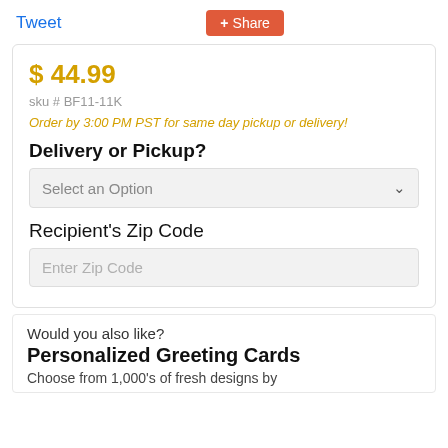Tweet
+ Share
$ 44.99
sku # BF11-11K
Order by 3:00 PM PST for same day pickup or delivery!
Delivery or Pickup?
Select an Option
Recipient's Zip Code
Enter Zip Code
Would you also like?
Personalized Greeting Cards
Choose from 1,000's of fresh designs by